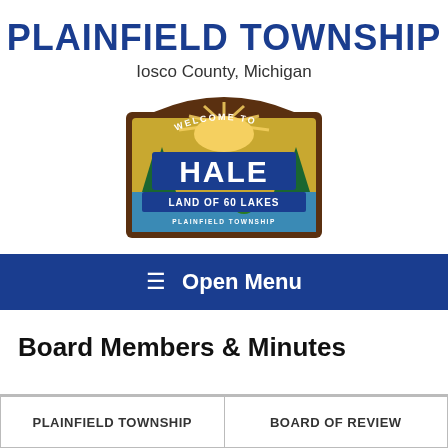PLAINFIELD TOWNSHIP
Iosco County, Michigan
[Figure (logo): Welcome to Hale – Land of 60 Lakes – Plainfield Township sign logo]
☰ Open Menu
Board Members & Minutes
| PLAINFIELD TOWNSHIP | BOARD OF REVIEW |
| --- | --- |